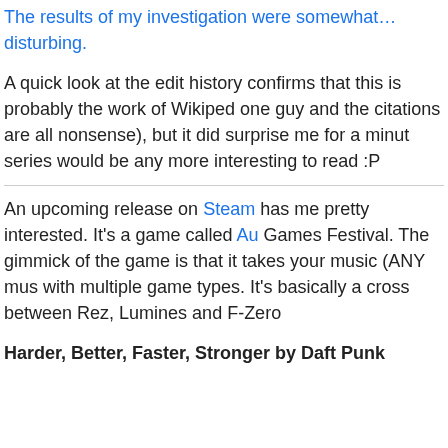The results of my investigation were somewhat…disturbing.
A quick look at the edit history confirms that this is probably the work of Wikipedia one guy and the citations are all nonsense), but it did surprise me for a minute series would be any more interesting to read :P
An upcoming release on Steam has me pretty interested. It's a game called Au Games Festival. The gimmick of the game is that it takes your music (ANY mus with multiple game types. It's basically a cross between Rez, Lumines and F-Zero
Harder, Better, Faster, Stronger by Daft Punk